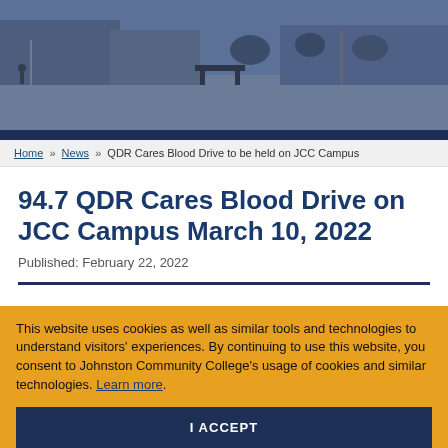[Figure (photo): Campus exterior photo showing buildings, benches, parking area with a blue/grey color tint overlay]
Home » News » QDR Cares Blood Drive to be held on JCC Campus
94.7 QDR Cares Blood Drive on JCC Campus March 10, 2022
Published: February 22, 2022
This website uses cookies as well as similar tools and technologies to understand visitors' experiences. By continuing to use this website, you consent to Johnston Community College's usage of cookies and similar technologies. Learn more.
I ACCEPT